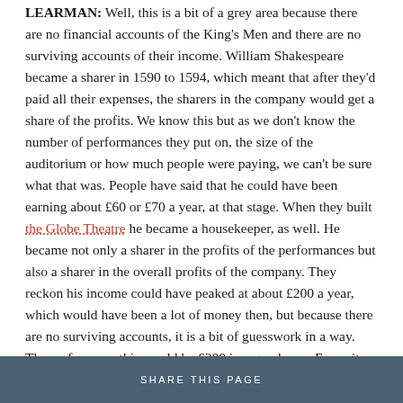LEARMAN: Well, this is a bit of a grey area because there are no financial accounts of the King's Men and there are no surviving accounts of their income. William Shakespeare became a sharer in 1590 to 1594, which meant that after they'd paid all their expenses, the sharers in the company would get a share of the profits. We know this but as we don't know the number of performances they put on, the size of the auditorium or how much people were paying, we can't be sure what that was. People have said that he could have been earning about £60 or £70 a year, at that stage. When they built the Globe Theatre he became a housekeeper, as well. He became not only a sharer in the profits of the performances but also a sharer in the overall profits of the company. They reckon his income could have peaked at about £200 a year, which would have been a lot of money then, but because there are no surviving accounts, it is a bit of guesswork in a way. Then, of course, this would be £200 in a good year. For quite long
SHARE THIS PAGE